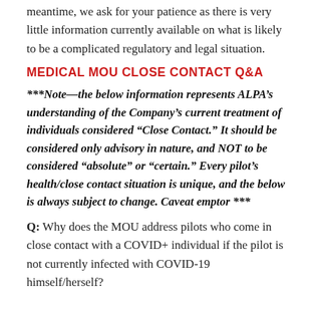meantime, we ask for your patience as there is very little information currently available on what is likely to be a complicated regulatory and legal situation.
MEDICAL MOU CLOSE CONTACT Q&A
***Note—the below information represents ALPA's understanding of the Company's current treatment of individuals considered “Close Contact.” It should be considered only advisory in nature, and NOT to be considered “absolute” or “certain.” Every pilot’s health/close contact situation is unique, and the below is always subject to change. Caveat emptor ***
Q: Why does the MOU address pilots who come in close contact with a COVID+ individual if the pilot is not currently infected with COVID-19 himself/herself?